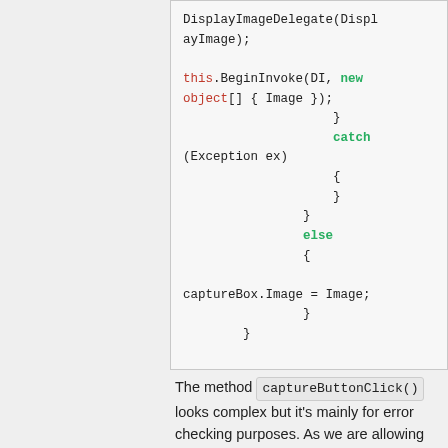[Figure (screenshot): Code snippet showing C# code with DisplayImageDelegate, BeginInvoke, catch/else blocks, and captureBox.Image assignment]
The method captureButtonClick() looks complex but it's mainly for error checking purposes. As we are allowing the user to